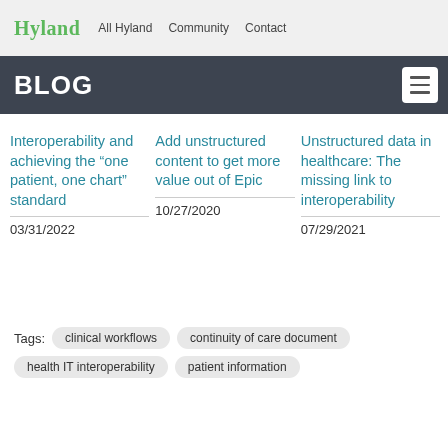Hyland  All Hyland  Community  Contact
BLOG
Interoperability and achieving the “one patient, one chart” standard
03/31/2022
Add unstructured content to get more value out of Epic
10/27/2020
Unstructured data in healthcare: The missing link to interoperability
07/29/2021
Tags: clinical workflows  continuity of care document  health IT interoperability  patient information